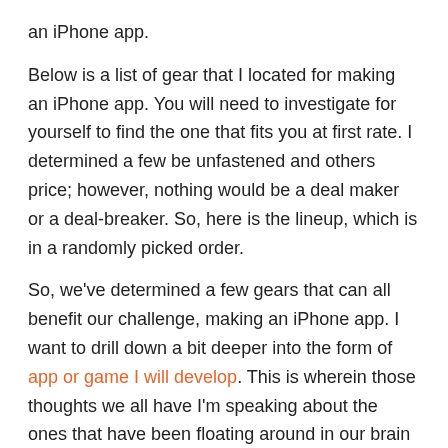an iPhone app.
Below is a list of gear that I located for making an iPhone app. You will need to investigate for yourself to find the one that fits you at first rate. I determined a few be unfastened and others price; however, nothing would be a deal maker or a deal-breaker. So, here is the lineup, which is in a randomly picked order.
So, we've determined a few gears that can all benefit our challenge, making an iPhone app. I want to drill down a bit deeper into the form of app or game I will develop. This is wherein those thoughts we all have I'm speaking about the ones that have been floating around in our brain all the time, properly, that is time they begin playing their element. Whether your concept is for recreation, or for a commercial enterprise, communication, social, sports activities, tool or images app it simply does no longer count, what does count is your choice and an absolute unstoppable drive to make this